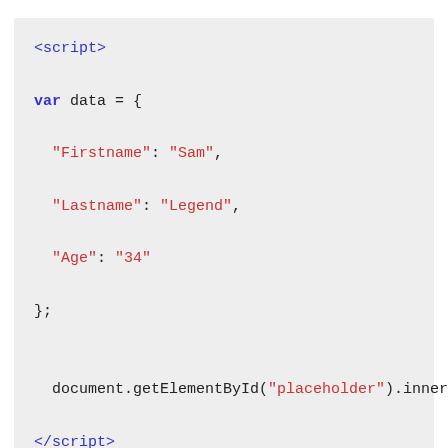[Figure (screenshot): Code block showing HTML script tag with JavaScript variable declaration containing JSON object with Firstname, Lastname, Age fields, and a document.getElementById call.]
Every object in json is stored with curly braces {}, an array is stored with brackets[].
So in order to organize our data, we created